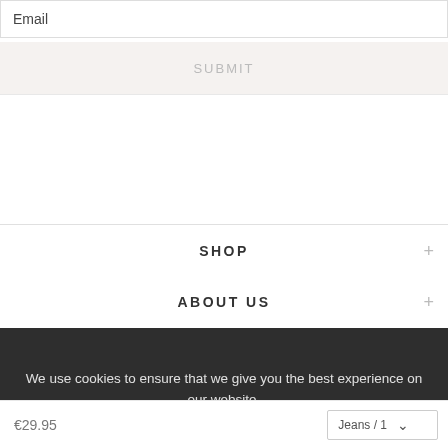Email
SUBMIT
SHOP
ABOUT US
We use cookies to ensure that we give you the best experience on our website.
PRIVACY POLICY   ACCEPT ✓
€29.95
Jeans / 1